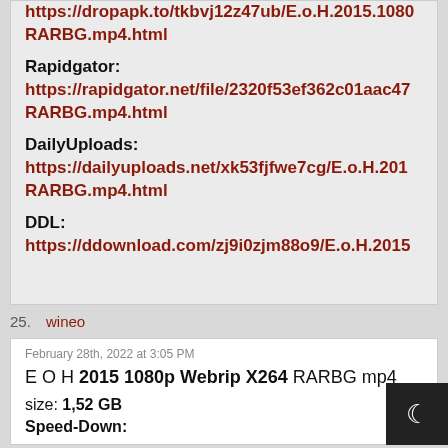https://dropapk.to/tkbvj12z47ub/E.o.H.2015.1080 RARBG.mp4.html
Rapidgator:
https://rapidgator.net/file/2320f53ef362c01aac47 RARBG.mp4.html
DailyUploads:
https://dailyuploads.net/xk53fjfwe7cg/E.o.H.201 RARBG.mp4.html
DDL:
https://ddownload.com/zj9i0zjm88o9/E.o.H.2015
25. wineo
February 28th, 2022 at 3:05 PM
E O H 2015 1080p Webrip X264 RARBG mp4
size: 1,52 GB
Speed-Down: